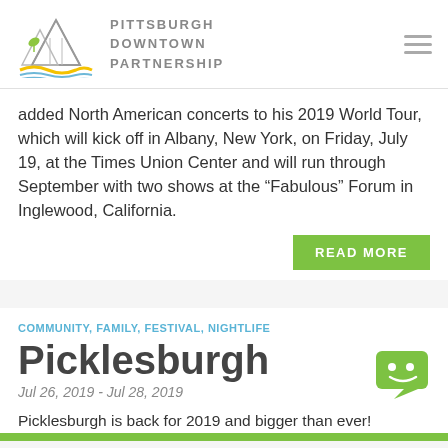Pittsburgh Downtown Partnership
added North American concerts to his 2019 World Tour, which will kick off in Albany, New York, on Friday, July 19, at the Times Union Center and will run through September with two shows at the “Fabulous” Forum in Inglewood, California.
READ MORE
COMMUNITY, FAMILY, FESTIVAL, NIGHTLIFE
Picklesburgh
Jul 26, 2019 - Jul 28, 2019
Picklesburgh is back for 2019 and bigger than ever!